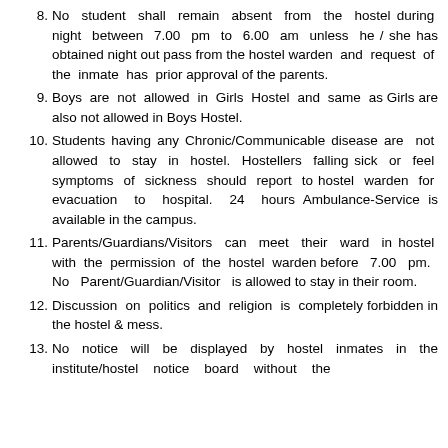8. No student shall remain absent from the hostel during night between 7.00 pm to 6.00 am unless he / she has obtained night out pass from the hostel warden and request of the inmate has prior approval of the parents.
9. Boys are not allowed in Girls Hostel and same as Girls are also not allowed in Boys Hostel.
10. Students having any Chronic/Communicable disease are not allowed to stay in hostel. Hostellers falling sick or feel symptoms of sickness should report to hostel warden for evacuation to hospital. 24 hours Ambulance-Service is available in the campus.
11. Parents/Guardians/Visitors can meet their ward in hostel with the permission of the hostel warden before 7.00 pm. No Parent/Guardian/Visitor is allowed to stay in their room.
12. Discussion on politics and religion is completely forbidden in the hostel & mess.
13. No notice will be displayed by hostel inmates in the institute/hostel notice board without the